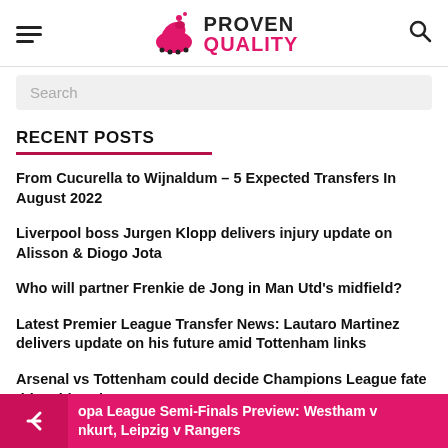PROVEN QUALITY
Search
RECENT POSTS
From Cucurella to Wijnaldum – 5 Expected Transfers In August 2022
Liverpool boss Jurgen Klopp delivers injury update on Alisson & Diogo Jota
Who will partner Frenkie de Jong in Man Utd's midfield?
Latest Premier League Transfer News: Lautaro Martinez delivers update on his future amid Tottenham links
Arsenal vs Tottenham could decide Champions League fate this midweek
Arsenal, Manchester United, Tottenham – The race for the Top 4
Europa League Semi-Finals Preview: Westham v Frankfurt, Leipzig v Rangers